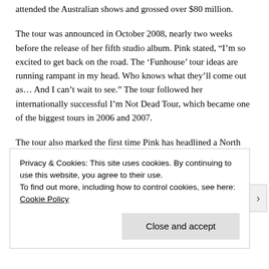attended the Australian shows and grossed over $80 million.
The tour was announced in October 2008, nearly two weeks before the release of her fifth studio album. Pink stated, “I’m so excited to get back on the road. The ‘Funhouse’ tour ideas are running rampant in my head. Who knows what they’ll come out as… And I can’t wait to see.” The tour followed her internationally successful I’m Not Dead Tour, which became one of the biggest tours in 2006 and 2007.
The tour also marked the first time Pink has headlined a North American arena tour. To describe the event, Pink stated, “I’ve waited 30 years for this tour. I really wasn’t sure if
Privacy & Cookies: This site uses cookies. By continuing to use this website, you agree to their use.
To find out more, including how to control cookies, see here: Cookie Policy
Close and accept